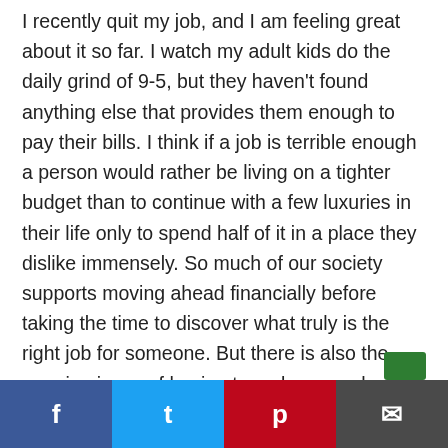I recently quit my job, and I am feeling great about it so far. I watch my adult kids do the daily grind of 9-5, but they haven't found anything else that provides them enough to pay their bills. I think if a job is terrible enough a person would rather be living on a tighter budget than to continue with a few luxuries in their life only to spend half of it in a place they dislike immensely. So much of our society supports moving ahead financially before taking the time to discover what truly is the right job for someone. But there is also the nagging issue of having to make enough money to eat and have shelter. I just couldn't do it anymore, my soul was literally disappearing until mid-weekend and then like you said Sunday night would come and I would
Facebook | Twitter | Pinterest | Email